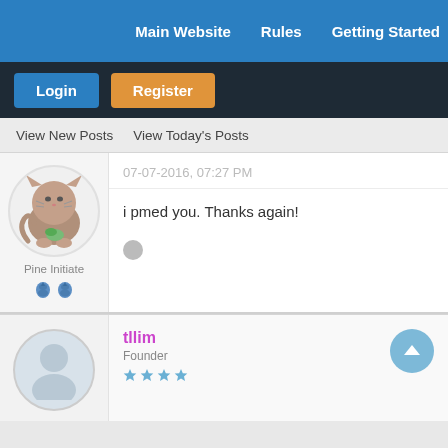Main Website   Rules   Getting Started
Login   Register
View New Posts   View Today's Posts
Pine Initiate
07-07-2016, 07:27 PM
i pmed you. Thanks again!
tllim
Founder